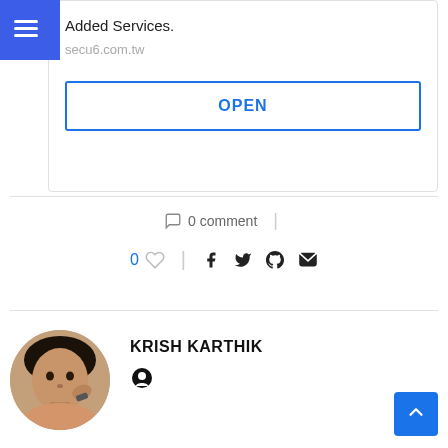Added Services.
secu6.com.tw
OPEN
0 comment
0
KRISH KARTHIK